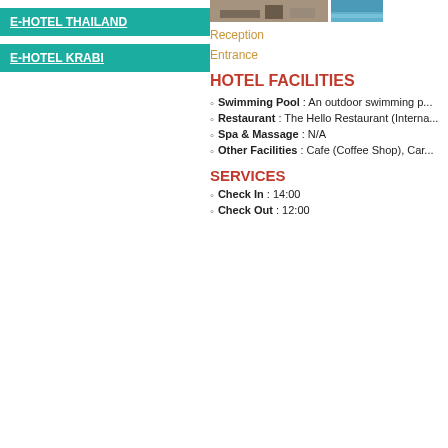E-HOTEL THAILAND
E-HOTEL KRABI
[Figure (photo): Hotel reception area photo and pool/water feature photo]
Reception
Entrance
HOTEL FACILITIES
Swimming Pool : An outdoor swimming p...
Restaurant : The Hello Restaurant (Interna...
Spa & Massage : N/A
Other Facilities : Cafe (Coffee Shop), Car...
SERVICES
Check In : 14:00
Check Out : 12:00